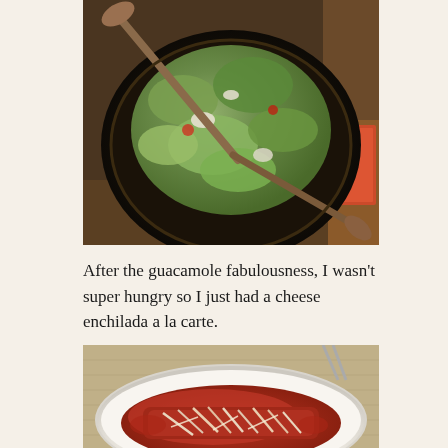[Figure (photo): Close-up photo of guacamole in a dark stone molcajete bowl with spoons, shot from above on a restaurant table.]
After the guacamole fabulousness, I wasn't super hungry so I just had a cheese enchilada a la carte.
[Figure (photo): Photo of a cheese enchilada on a white plate covered in red sauce with shredded cheese on top, on a restaurant table.]